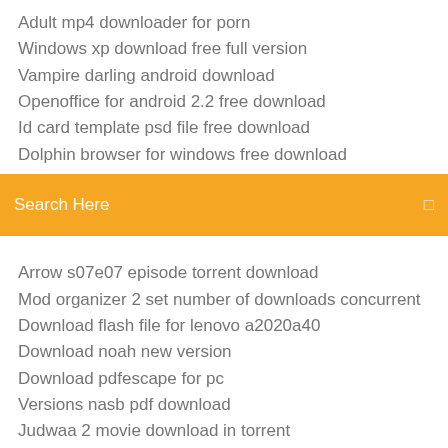Adult mp4 downloader for porn
Windows xp download free full version
Vampire darling android download
Openoffice for android 2.2 free download
Id card template psd file free download
Dolphin browser for windows free download
[Figure (screenshot): Orange search bar with text 'Search Here' and a small icon on the right]
Arrow s07e07 episode torrent download
Mod organizer 2 set number of downloads concurrent
Download flash file for lenovo a2020a40
Download noah new version
Download pdfescape for pc
Versions nasb pdf download
Judwaa 2 movie download in torrent
Command prompt pdf free download
Caveman chemistry pdf free download
Complete works of josephus pdf free download